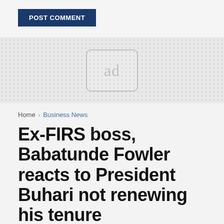POST COMMENT
[Figure (other): Advertisement placeholder box with 'ad' text on dotted background]
Home › Business News
Ex-FIRS boss, Babatunde Fowler reacts to President Buhari not renewing his tenure
by Fakoyejo Olalekan — December 10, 2019